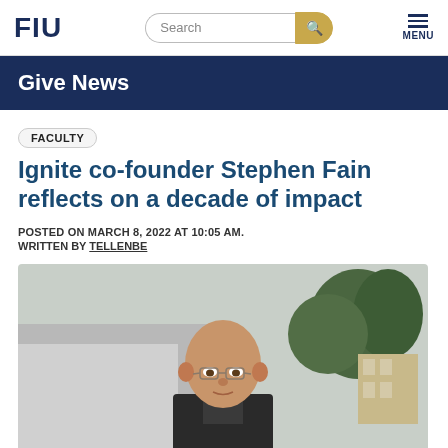FIU | Search | MENU
Give News
FACULTY
Ignite co-founder Stephen Fain reflects on a decade of impact
POSTED ON MARCH 8, 2022 AT 10:05 AM.
WRITTEN BY TELLENBE
[Figure (photo): Photograph of an older bald man wearing glasses, standing outdoors with trees and a building in the background.]